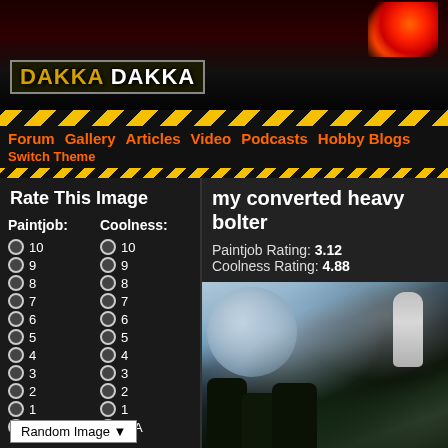[Figure (screenshot): Dakka Dakka website header with explosion graphic and logo]
Forum  Gallery  Articles  Video  Podcasts  Hobby Blogs  Switch Theme
Rate This Image
Paintjob: 10 9 8 7 6 5 4 3 2 1 N/A  Coolness: 10 9 8 7 6 5 4 3 2 1 N/A
my converted heavy bolter
Paintjob Rating: 3.12
Coolness Rating: 4.88
[Figure (photo): Miniature models (heavy bolter conversion) with blurred background showing blue/white globe shape and salt shaker]
Random Image ▼